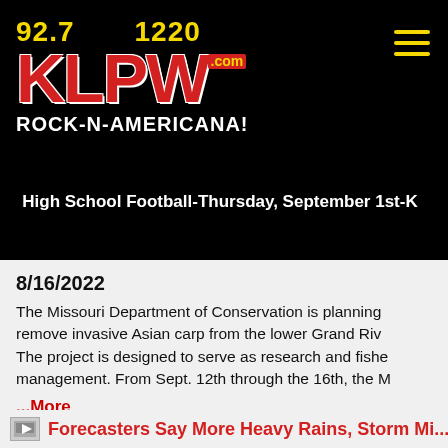[Figure (logo): KLPW radio station logo showing frequencies 92.7 and 1220, red KLPW.com text, and white ROCK-N-AMERICANA! tagline on black background]
High School Football-Thursday, September 1st-K
8/16/2022
The Missouri Department of Conservation is planning to remove invasive Asian carp from the lower Grand River. The project is designed to serve as research and fisheries management. From Sept. 12th through the 16th, the M ...More
Forecasters Say More Heavy Rains, Storm Mi...